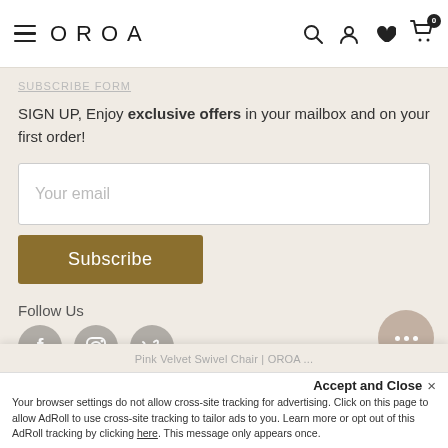OROA — navigation bar with hamburger menu, logo, search, account, wishlist, and cart (0 items)
SUBSCRIBE FORM
SIGN UP, Enjoy exclusive offers in your mailbox and on your first order!
Your email
Subscribe
Follow Us
[Figure (infographic): Social media icons: Facebook, Instagram, Vimeo — circular grey icons]
Pink Velvet Swivel Chair | OROA ...
Accept and Close ×
Your browser settings do not allow cross-site tracking for advertising. Click on this page to allow AdRoll to use cross-site tracking to tailor ads to you. Learn more or opt out of this AdRoll tracking by clicking here. This message only appears once.